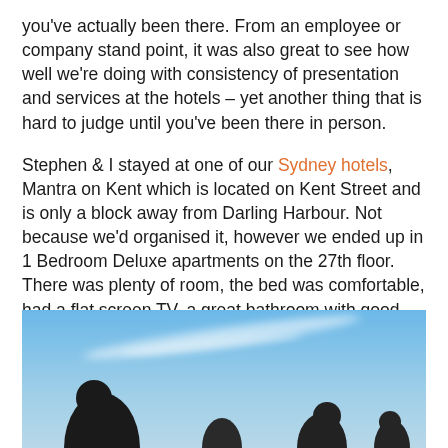you've actually been there. From an employee or company stand point, it was also great to see how well we're doing with consistency of presentation and services at the hotels – yet another thing that is hard to judge until you've been there in person.
Stephen & I stayed at one of our Sydney hotels, Mantra on Kent which is located on Kent Street and is only a block away from Darling Harbour. Not because we'd organised it, however we ended up in 1 Bedroom Deluxe apartments on the 27th floor. There was plenty of room, the bed was comfortable, had a flat screen TV, a great bathroom with good views over the Sydney city. We enjoyed a full buffet breakfast each morning as well, which was really delicious.
[Figure (photo): Outdoor photo showing silhouettes of people against a blue sky with wispy white cloud streaks]